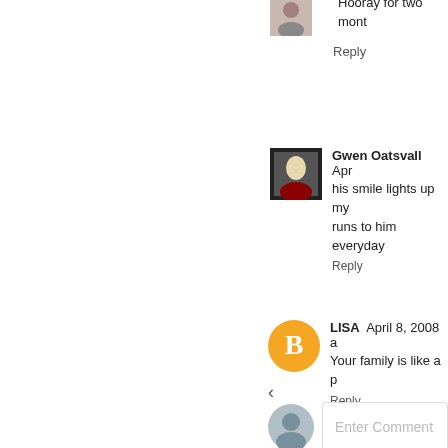Hooray for two mont
Reply
Gwen Oatsvall   Apr
his smile lights up my
runs to him everyday
Reply
LISA   April 8, 2008 a
Your family is like a p
Reply
Enter Comment